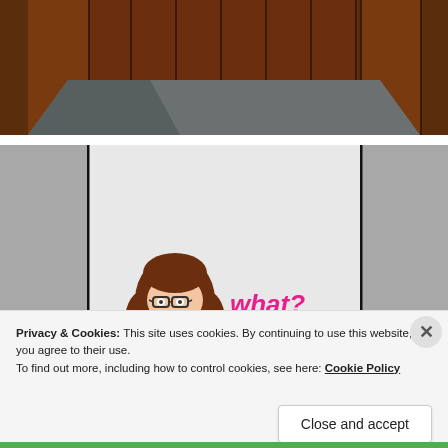[Figure (illustration): Comic-style illustration showing the top portion of a room with brown wooden paneled walls and a gray floor, viewed from an angle. The ceiling area shows dark brown panels.]
[Figure (illustration): Comic-style illustration of a light gray room with two black vertical lines (door frames). At the bottom center is a cartoon character — a girl with brown hair and glasses — peeking up, with the word 'what?' written in pink/magenta text next to her.]
Privacy & Cookies: This site uses cookies. By continuing to use this website, you agree to their use.
To find out more, including how to control cookies, see here: Cookie Policy
Close and accept